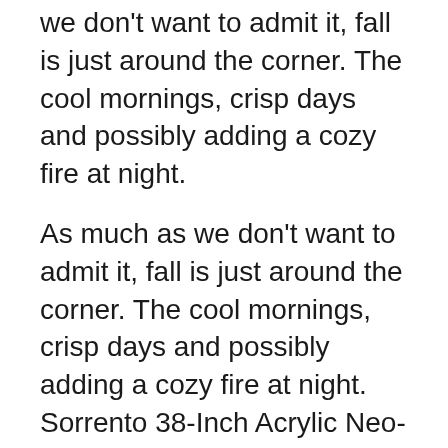we don't want to admit it, fall is just around the corner. The cool mornings, crisp days and possibly adding a cozy fire at night.
As much as we don't want to admit it, fall is just around the corner. The cool mornings, crisp days and possibly adding a cozy fire at night. Sorrento 38-Inch Acrylic Neo-Angle Shower Stall Multi Piece in White The Sorrento Acrylic Corner shower packages include an acrylic shower base, acrylic shower walls and a stylish door. A Mirolin shower package provides a spacious corner shower unit that utilizes a relatively small space; the perfect solution for those smaller bathroom projects.
Madison 34.5-inch D x 50-inch W x 84.5-inch H